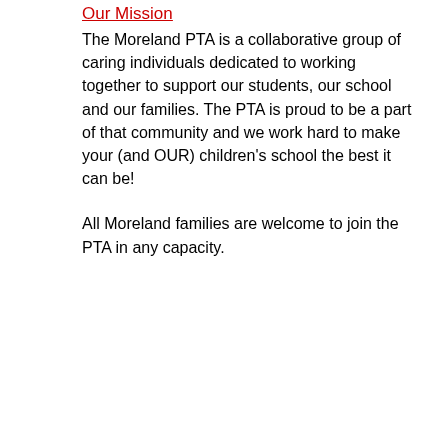Our Mission
The Moreland PTA is a collaborative group of caring individuals dedicated to working together to support our students, our school and our families. The PTA is proud to be a part of that community and we work hard to make your (and OUR) children's school the best it can be!
All Moreland families are welcome to join the PTA in any capacity.